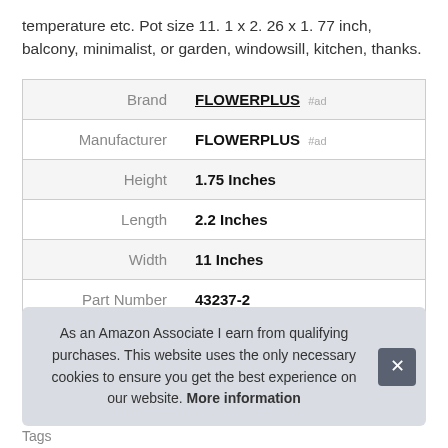temperature etc. Pot size 11. 1 x 2. 26 x 1. 77 inch, balcony, minimalist, or garden, windowsill, kitchen, thanks.
|  |  |
| --- | --- |
| Brand | FLOWERPLUS #ad |
| Manufacturer | FLOWERPLUS #ad |
| Height | 1.75 Inches |
| Length | 2.2 Inches |
| Width | 11 Inches |
| Part Number | 43237-2 |
As an Amazon Associate I earn from qualifying purchases. This website uses the only necessary cookies to ensure you get the best experience on our website. More information
Tags